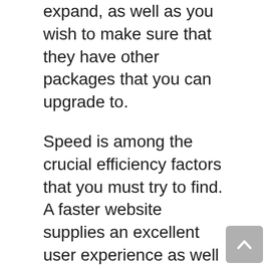expand, as well as you wish to make sure that they have other packages that you can upgrade to.
Speed is among the crucial efficiency factors that you must try to find. A faster website supplies an excellent user experience as well as enhances your search engine optimization at the same time. In fact, a 2nd hold-up can trigger a 10% reduction in conversions, 15% less web page views, and a 20% reduction in client satisfaction.
Your website’s material has a significant effect on web page load time. For example, if you have high definition photos on a page, after that it will substantially raise the overall page tons time. This implies that speed test